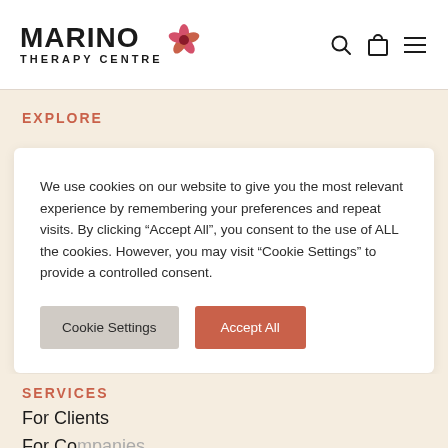[Figure (logo): Marino Therapy Centre logo with red hibiscus flower and text]
EXPLORE
We use cookies on our website to give you the most relevant experience by remembering your preferences and repeat visits. By clicking “Accept All”, you consent to the use of ALL the cookies. However, you may visit "Cookie Settings" to provide a controlled consent.
Cookie Settings | Accept All
SERVICES
For Clients
For Companies